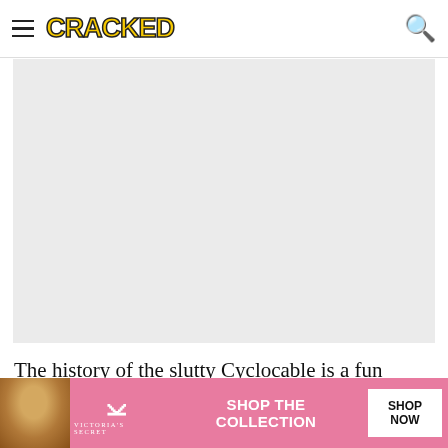CRACKED
[Figure (photo): Large light gray placeholder image area for an article image]
The history of the slutty Cyclocable is a fun one. Back in 1992, a cyclist in Norway was going up a hill and
[Figure (infographic): Victoria's Secret advertisement banner with model photo, VS logo, 'SHOP THE COLLECTION' text, and 'SHOP NOW' button]